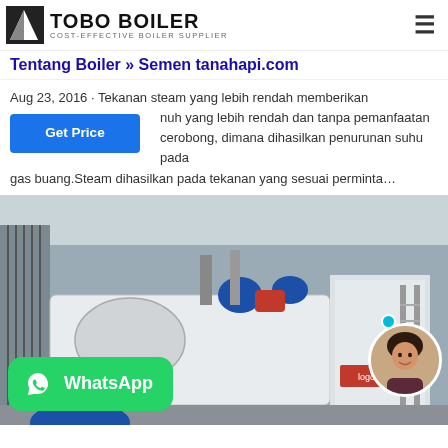TOBO BOILER — COST-EFFECTIVE BOILER SUPPLIER
Tentang Boiler » Semen tanahapi.com
Aug 23, 2016 · Tekanan steam yang lebih rendah memberikan nuh yang lebih rendah dan tanpa pemanfaatan cerobong, dimana dihasilkan penurunan suhu pada gas buang.Steam dihasilkan pada tekanan yang sesuai perminta…
[Figure (photo): Industrial boiler equipment on factory floor, white metal casing with blue piping and machinery, Chinese text markings on unit. WhatsApp banner overlay at bottom left, circular avatar of a woman at bottom right with online status indicator.]